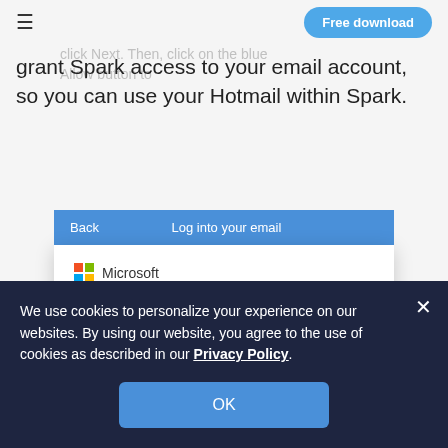Free download
On the next screen, enter your Ho… click Next. Then, click on the blue Allow button to grant Spark access to your email account, so you can use your Hotmail within Spark.
[Figure (screenshot): Screenshot of Microsoft login dialog showing 'Log into your email' header with Back button, Microsoft logo, readdletest@hotmail.com email, 'Enter password' heading, and a password field with dots.]
We use cookies to personalize your experience on our websites. By using our website, you agree to the use of cookies as described in our Privacy Policy.